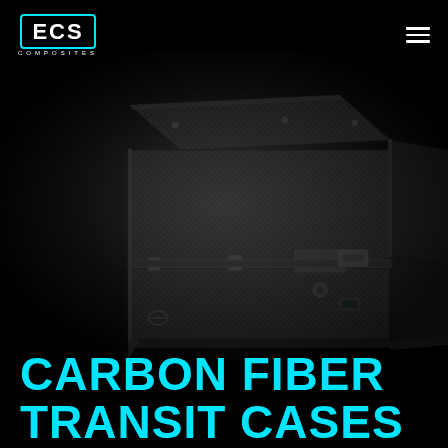[Figure (logo): ECS Composites logo — white text 'ECS' inside a cyan rectangular border, with 'COMPOSITES' in small caps below]
[Figure (photo): Carbon fiber transit case photographed in 3/4 view on a dark background with vignette spotlight effect. The case is a large dark grey/black rectangular box with visible carbon fiber weave texture. It has latches, hinges, and hardware fittings on the front and sides.]
CARBON FIBER TRANSIT CASES